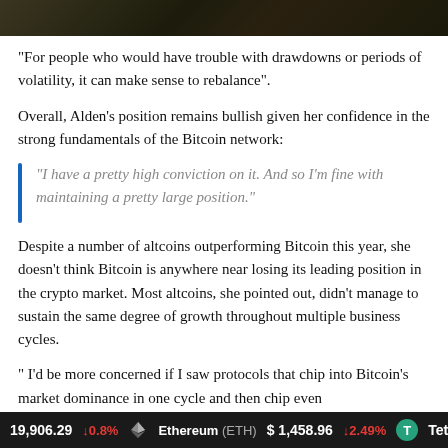[Figure (photo): Dark background image, partial crop showing top of page]
“For people who would have trouble with drawdowns or periods of volatility, it can make sense to rebalance”.
Overall, Alden’s position remains bullish given her confidence in the strong fundamentals of the Bitcoin network:
“I have a pretty high conviction on it. And so I’m fine with maintaining a pretty large position.”
Despite a number of altcoins outperforming Bitcoin this year, she doesn’t think Bitcoin is anywhere near losing its leading position in the crypto market. Most altcoins, she pointed out, didn’t manage to sustain the same degree of growth throughout multiple business cycles.
“ I’d be more concerned if I saw protocols that chip into Bitcoin’s market dominance in one cycle and then chip even
19,906.29 ↓0.8%   Ethereum (ETH) $1,458.96 ↓2.49%   Tet